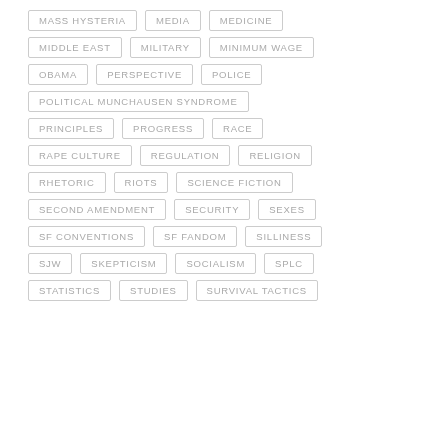MASS HYSTERIA
MEDIA
MEDICINE
MIDDLE EAST
MILITARY
MINIMUM WAGE
OBAMA
PERSPECTIVE
POLICE
POLITICAL MUNCHAUSEN SYNDROME
PRINCIPLES
PROGRESS
RACE
RAPE CULTURE
REGULATION
RELIGION
RHETORIC
RIOTS
SCIENCE FICTION
SECOND AMENDMENT
SECURITY
SEXES
SF CONVENTIONS
SF FANDOM
SILLINESS
SJW
SKEPTICISM
SOCIALISM
SPLC
STATISTICS
STUDIES
SURVIVAL TACTICS